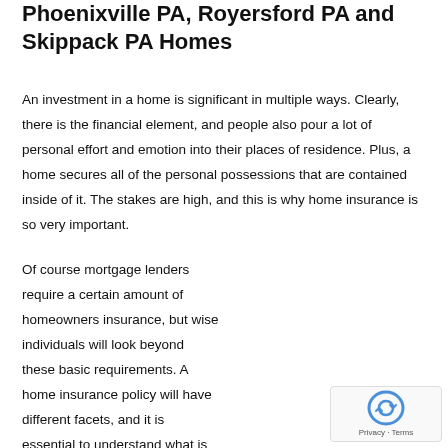Phoenixville PA, Royersford PA and Skippack PA Homes
An investment in a home is significant in multiple ways. Clearly, there is the financial element, and people also pour a lot of personal effort and emotion into their places of residence. Plus, a home secures all of the personal possessions that are contained inside of it. The stakes are high, and this is why home insurance is so very important.
Of course mortgage lenders require a certain amount of homeowners insurance, but wise individuals will look beyond these basic requirements. A home insurance policy will have different facets, and it is essential to understand what is covered, and what is not. Any incorrect assumptions m... can come back to yield negative consequences later on...